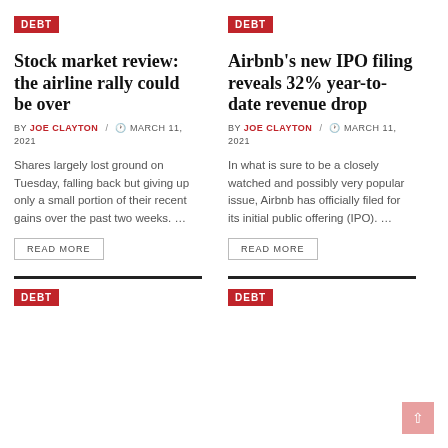DEBT
Stock market review: the airline rally could be over
BY JOE CLAYTON / MARCH 11, 2021
Shares largely lost ground on Tuesday, falling back but giving up only a small portion of their recent gains over the past two weeks. …
READ MORE
DEBT
Airbnb's new IPO filing reveals 32% year-to-date revenue drop
BY JOE CLAYTON / MARCH 11, 2021
In what is sure to be a closely watched and possibly very popular issue, Airbnb has officially filed for its initial public offering (IPO). …
READ MORE
DEBT
DEBT